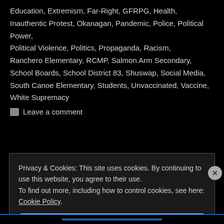Education, Extremism, Far-Right, GFRPG, Health, Inauthentic Protest, Okanagan, Pandemic, Police, Political Power, Political Violence, Politics, Propaganda, Racism, Ranchero Elementary, RCMP, Salmon Arm Secondary, School Boards, School District 83, Shuswap, Social Media, South Canoe Elementary, Students, Unvaccinated, Vaccine, White Supremacy
Leave a comment
Privacy & Cookies: This site uses cookies. By continuing to use this website, you agree to their use. To find out more, including how to control cookies, see here: Cookie Policy
Close and accept